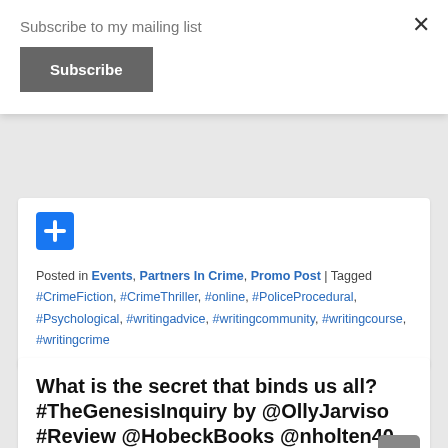Subscribe to my mailing list
×
Subscribe
[Figure (logo): Blue Facebook-style square icon with white plus/cross symbol]
Posted in Events, Partners In Crime, Promo Post | Tagged #CrimeFiction, #CrimeThriller, #online, #PoliceProcedural, #Psychological, #writingadvice, #writingcommunity, #writingcourse, #writingcrime
What is the secret that binds us all? #TheGenesisInquiry by @OllyJarviso #Review @HobeckBooks @nholten40
Posted on October 21, 2021 by crimebookjunkie